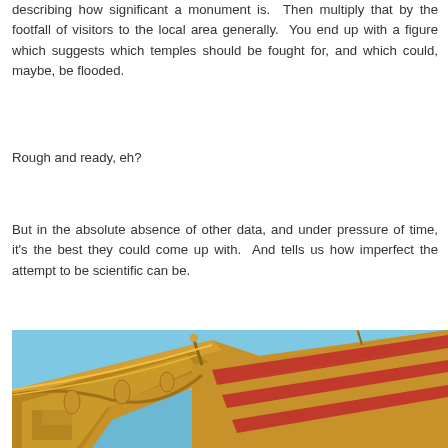describing how significant a monument is.  Then multiply that by the footfall of visitors to the local area generally.  You end up with a figure which suggests which temples should be fought for, and which could, maybe, be flooded.
Rough and ready, eh?
But in the absolute absence of other data, and under pressure of time, it's the best they could come up with.  And tells us how imperfect the attempt to be scientific can be.
[Figure (photo): A close-up photograph of an ornate Southeast Asian (likely Thai or Lao) temple roof with intricate golden carvings, decorative gabled eaves with finials, red and gold striped roof tiles, and detailed facade ornamentation against a clear blue sky.]